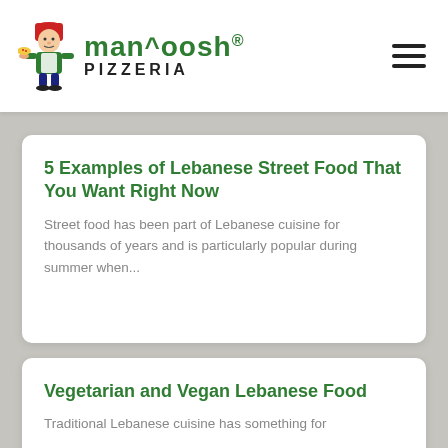man'oosh PIZZERIA
5 Examples of Lebanese Street Food That You Want Right Now
Street food has been part of Lebanese cuisine for thousands of years and is particularly popular during summer when...
Vegetarian and Vegan Lebanese Food
Traditional Lebanese cuisine has something for...